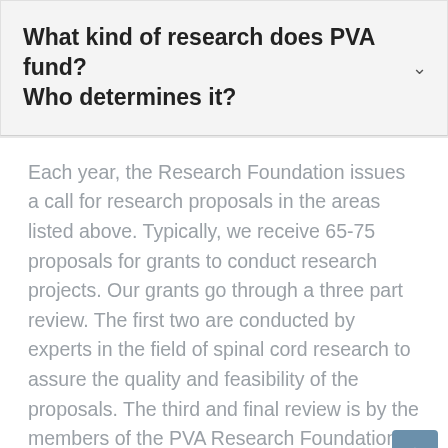What kind of research does PVA fund? Who determines it?
Each year, the Research Foundation issues a call for research proposals in the areas listed above. Typically, we receive 65-75 proposals for grants to conduct research projects. Our grants go through a three part review. The first two are conducted by experts in the field of spinal cord research to assure the quality and feasibility of the proposals. The third and final review is by the members of the PVA Research Foundation. All voting members are PVA